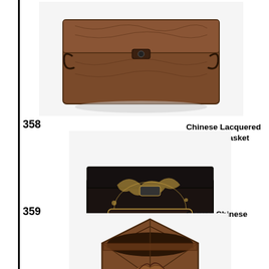[Figure (photo): A carved wooden chest/trunk with decorative relief carvings and metal hardware including handles and a latch, shown in three-quarter view.]
358
[Figure (photo): A Chinese lacquered jewelry casket with black lacquer finish decorated with gold painted floral and figural scenes, open-front display showing interior, on a stepped base.]
Chinese Lacquered Jewelery Casket
359
Carved Chinese Car...
[Figure (photo): A hexagonal carved Chinese wooden container/brush pot with intricate relief carvings depicting a dragon amid foliage on its panels.]